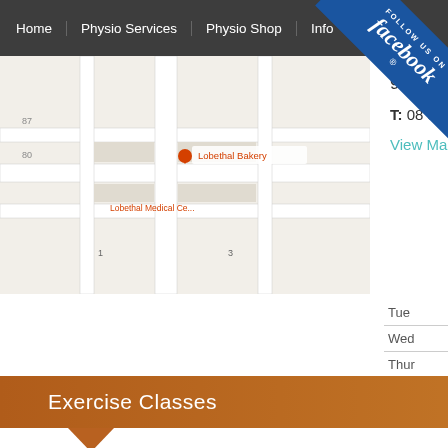Home | Physio Services | Physio Shop | Info
[Figure (map): Google Maps embed showing Lobethal Bakery and Lobethal Medical Centre location on a street map]
91 Main Street
T: 08 8568 5455
View Map
Tue
Wed
Thur
Frid
Exercise Classes
Lobethal Reception Centre
T:
View Map
App
Mon
Tues